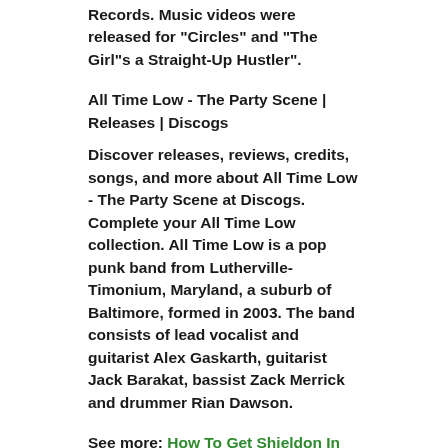Records. Music videos were released for "Circles" and "The Girl"s a Straight-Up Hustler".
All Time Low - The Party Scene | Releases | Discogs
Discover releases, reviews, credits, songs, and more about All Time Low - The Party Scene at Discogs. Complete your All Time Low collection. All Time Low is a pop punk band from Lutherville-Timonium, Maryland, a suburb of Baltimore, formed in 2003. The band consists of lead vocalist and guitarist Alex Gaskarth, guitarist Jack Barakat, bassist Zack Merrick and drummer Rian Dawson.
See more: How To Get Shieldon In Pokemon Diamond And Pearl? Where Do You Find Shieldon In Diamond And Pearl